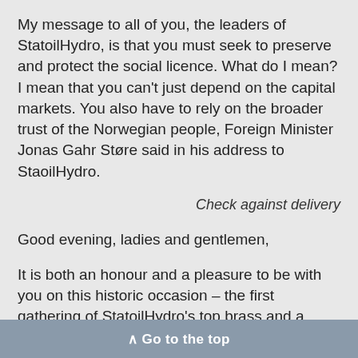My message to all of you, the leaders of StatoilHydro, is that you must seek to preserve and protect the social licence. What do I mean? I mean that you can't just depend on the capital markets. You also have to rely on the broader trust of the Norwegian people, Foreign Minister Jonas Gahr Støre said in his address to StaoilHydro.
Check against delivery
Good evening, ladies and gentlemen,
It is both an honour and a pleasure to be with you on this historic occasion – the first gathering of StatoilHydro's top brass and a milestone in the launching of Norway's new industrial and technological flagship.
∧ Go to the top